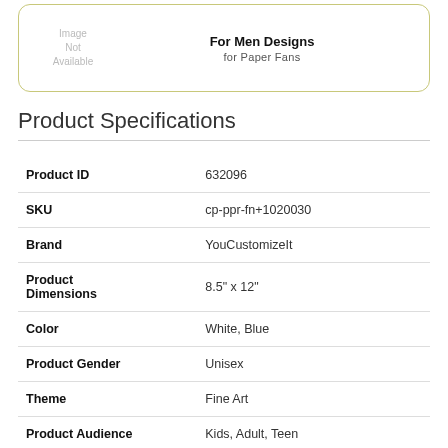[Figure (other): Product card with image placeholder and title 'For Men Designs for Paper Fans']
Product Specifications
| Attribute | Value |
| --- | --- |
| Product ID | 632096 |
| SKU | cp-ppr-fn+1020030 |
| Brand | YouCustomizeIt |
| Product Dimensions | 8.5" x 12" |
| Color | White, Blue |
| Product Gender | Unisex |
| Theme | Fine Art |
| Product Audience | Kids, Adult, Teen |